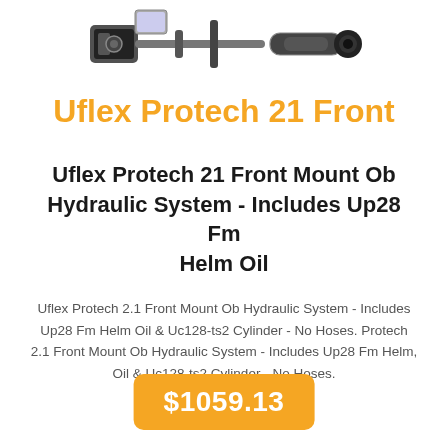[Figure (photo): Product photo of Uflex Protech 21 Front hydraulic steering system components including helm pump, cylinder, and tubing on white background]
Uflex Protech 21 Front
Uflex Protech 21 Front Mount Ob Hydraulic System - Includes Up28 Fm Helm Oil
Uflex Protech 2.1 Front Mount Ob Hydraulic System - Includes Up28 Fm Helm Oil & Uc128-ts2 Cylinder - No Hoses. Protech 2.1 Front Mount Ob Hydraulic System - Includes Up28 Fm Helm, Oil & Uc128-ts2 Cylinder - No Hoses.
$1059.13